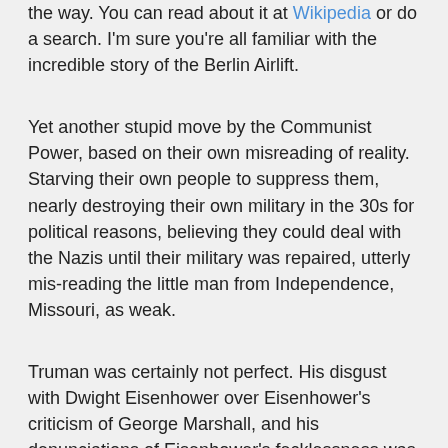the way. You can read about it at Wikipedia or do a search. I'm sure you're all familiar with the incredible story of the Berlin Airlift.
Yet another stupid move by the Communist Power, based on their own misreading of reality. Starving their own people to suppress them, nearly destroying their own military in the 30s for political reasons, believing they could deal with the Nazis until their military was repaired, utterly mis-reading the little man from Independence, Missouri, as weak.
Truman was certainly not perfect. His disgust with Dwight Eisenhower over Eisenhower's criticism of George Marshall, and his denunciations of Eisenhower's fecklessness was pointless and off-target. Marshall, architect of the famous Marshall Plan, had originally included nearly every nation on earth as recipients of American largesse. He also did not quite recognize the Soviet threat for what it was. Marshall had his own naïveté.
Truman took a long time to see just how undependable the Soviets were. Much like FDR, he didn't see the reality behind the minds of some of Soviet Ambassa...